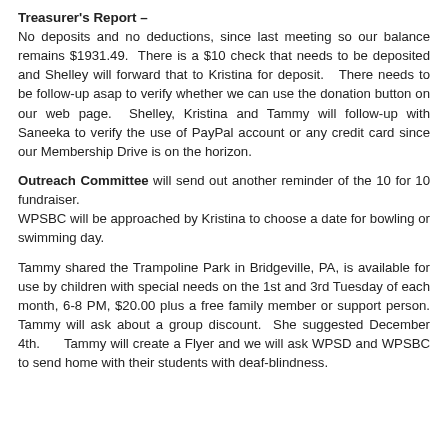Treasurer's Report –
No deposits and no deductions, since last meeting so our balance remains $1931.49.  There is a $10 check that needs to be deposited and Shelley will forward that to Kristina for deposit.   There needs to be follow-up asap to verify whether we can use the donation button on our web page.  Shelley, Kristina and Tammy will follow-up with Saneeka to verify the use of PayPal account or any credit card since our Membership Drive is on the horizon.
Outreach Committee will send out another reminder of the 10 for 10 fundraiser.
WPSBC will be approached by Kristina to choose a date for bowling or swimming day.
Tammy shared the Trampoline Park in Bridgeville, PA, is available for use by children with special needs on the 1st and 3rd Tuesday of each month, 6-8 PM, $20.00 plus a free family member or support person.  Tammy will ask about a group discount.  She suggested December 4th.     Tammy will create a Flyer and we will ask WPSD and WPSBC to send home with their students with deaf-blindness.